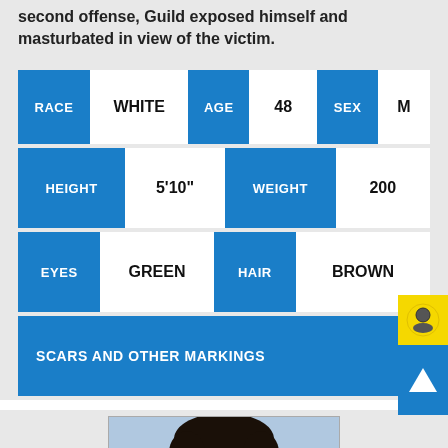second offense, Guild exposed himself and masturbated in view of the victim.
| RACE |  | AGE |  | SEX |  |
| --- | --- | --- | --- | --- | --- |
| RACE | WHITE | AGE | 48 | SEX | M |
| HEIGHT | 5'10" | WEIGHT | 200 |  |  |
| EYES | GREEN | HAIR | BROWN |  |  |
| SCARS AND OTHER MARKINGS |  |  |  |  |  |
[Figure (photo): Mugshot photo of individual with dark hair against blue background]